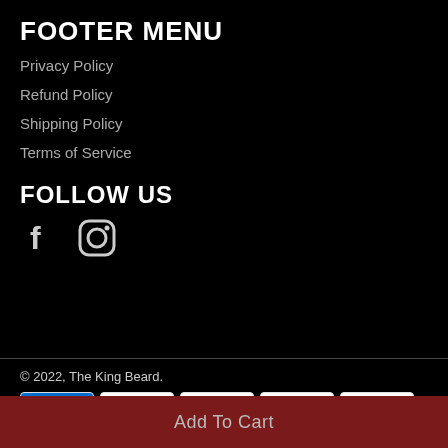FOOTER MENU
Privacy Policy
Refund Policy
Shipping Policy
Terms of Service
FOLLOW US
[Figure (other): Social media icons: Facebook (f) and Instagram (camera icon)]
© 2022, The King Beard.
[Figure (other): Payment method badges: American Express, Apple Pay, Diners Club, Discover, Google Pay, Maestro, Mastercard, PayPal, Shop Pay, Visa]
Add To Cart